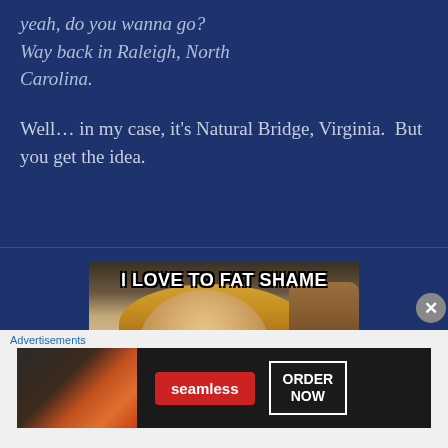yeah, do you wanna go? Way back in Raleigh, North Carolina.
Well… in my case, it's Natural Bridge, Virginia.  But you get the idea.
[Figure (photo): Meme image with text 'I LOVE TO FAT SHAME' at top and 'I JUST WANT EVERYONE TO BE' at bottom, featuring a blonde woman looking at camera]
Advertisements
[Figure (screenshot): Seamless food delivery advertisement banner with pizza image on left, red Seamless logo button in center, and ORDER NOW button on right]